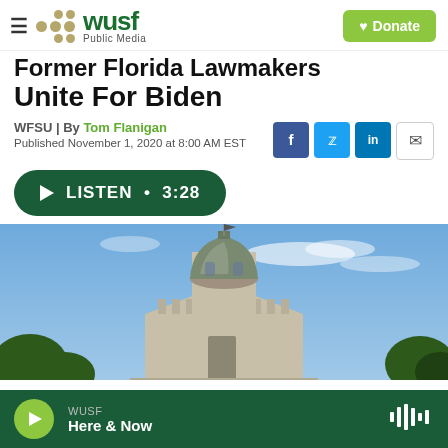WUSF Public Media
Former Florida Lawmakers Unite For Biden
WFSU | By Tom Flanigan
Published November 1, 2020 at 8:00 AM EST
LISTEN • 3:28
[Figure (photo): Photo of the Florida State Capitol building dome against a blue sky with wispy clouds and trees in the foreground]
WUSF Here & Now